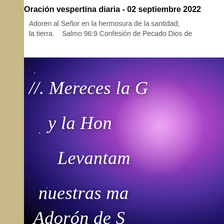Oración vespertina diaria - 02 septiembre 2022
Adoren al Señor en la hermosura de la santidad; la tierra.   Salmo 96:9 Confesión de Pecado Dios de
[Figure (illustration): A purple and pink glowing cosmic background with white italic text in Spanish reading: //. Mereces la G / y la Hon / Levantam / nuestras ma / Adorón de S]